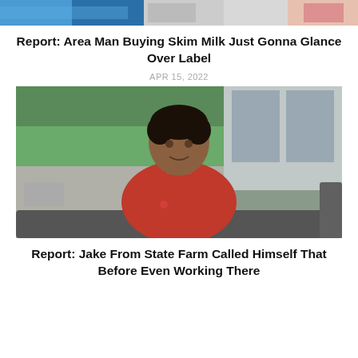[Figure (photo): Partial top image strip showing people in sports/casual wear]
Report: Area Man Buying Skim Milk Just Gonna Glance Over Label
APR 15, 2022
[Figure (photo): Man in red hoodie sitting on a dark couch in a modern home setting with large windows and greenery in background]
Report: Jake From State Farm Called Himself That Before Even Working There